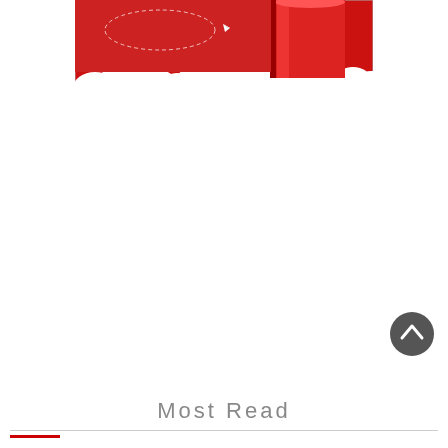[Figure (illustration): Illustration of a red cylindrical rocket or container above white clouds, with a small white paper airplane with a dotted trail path in the upper left area. Red and white color scheme.]
Most Read